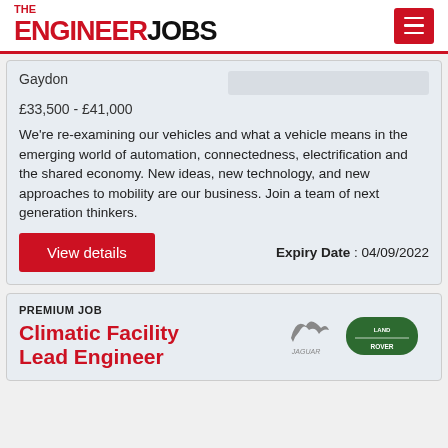THE ENGINEER JOBS
Gaydon
£33,500 - £41,000
We're re-examining our vehicles and what a vehicle means in the emerging world of automation, connectedness, electrification and the shared economy. New ideas, new technology, and new approaches to mobility are our business. Join a team of next generation thinkers.
Expiry Date : 04/09/2022
View details
PREMIUM JOB
Climatic Facility Lead Engineer